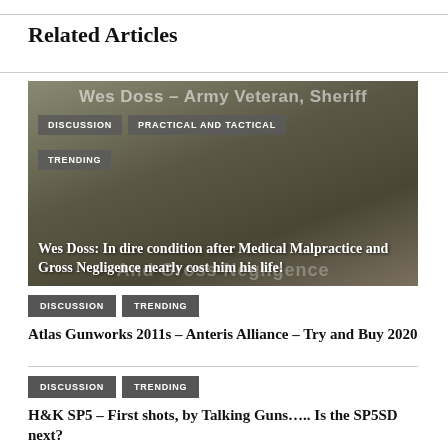Related Articles
[Figure (photo): Photo of Wes Doss, Army Veteran/Sheriff, in tactical jacket outdoors. Overlaid text reads 'Wes Doss – Army Veteran, Sheriff' and 'And Gross Negligence'. Badges for DISCUSSION, PRACTICAL AND TACTICAL, TRENDING. Caption reads: 'Wes Doss: In dire condition after Medical Malpractice and Gross Negligence nearly cost him his life!']
DISCUSSION  TRENDING
Atlas Gunworks 2011s – Anteris Alliance – Try and Buy 2020
DISCUSSION  TRENDING
H&K SP5 – First shots, by Talking Guns….. Is the SP5SD next?